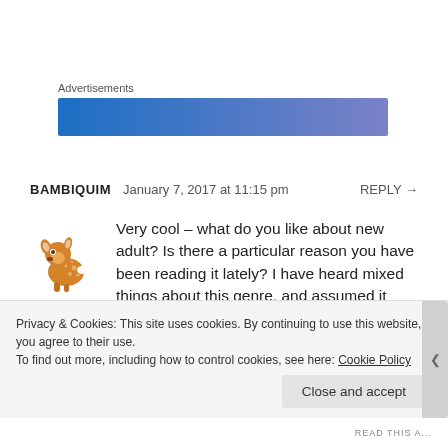Advertisements
[Figure (other): Blue to purple gradient advertisement banner]
BAMBIQUIM   January 7, 2017 at 11:15 pm   REPLY →
[Figure (illustration): Bambi deer cartoon avatar]
Very cool – what do you like about new adult? Is there a particular reason you have been reading it lately? I have heard mixed things about this genre, and assumed it depended on the skill of the authors doing the writing, but would love to
Privacy & Cookies: This site uses cookies. By continuing to use this website, you agree to their use.
To find out more, including how to control cookies, see here: Cookie Policy
Close and accept